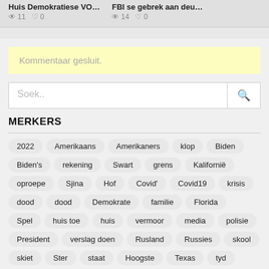Huis Demokratiese VO...   FBI se gebrek aan deu...  👁 11  ♥ 0   👁 14  ♥ 0
Kommentaar gesluit.
Soek..
MERKERS
2022
Amerikaans
Amerikaners
klop
Biden
Biden's
rekening
Swart
grens
Kalifornië
oproepe
Sjina
Hof
Covid'
Covid19
krisis
dood
dood
Demokrate
familie
Florida
Spel
huis toe
huis
vermoor
media
polisie
President
verslag doen
Rusland
Russies
skool
skiet
Ster
staat
Hoogste
Texas
tyd
Trump
Oekraïne
entstof